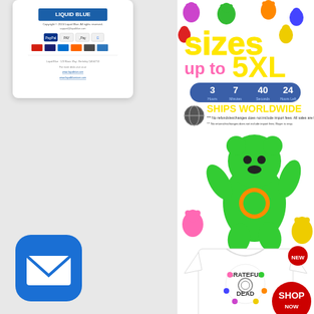[Figure (screenshot): Liquid Blue website screenshot showing logo, payment icons (PayPal, Apple Pay, Google Pay, credit cards), and footer links on a white card]
[Figure (infographic): Liquid Blue Grateful Dead promotional banner: 'sizes up to 5XL', countdown timer (3, 7, 40, 24), Ships Worldwide notice, colorful dancing bears, white Grateful Dead Spiral Bears 3.0 tee shirt, SHOP NOW button, sale from $19]
[Figure (logo): Blue rounded square mail/email icon with white envelope symbol]